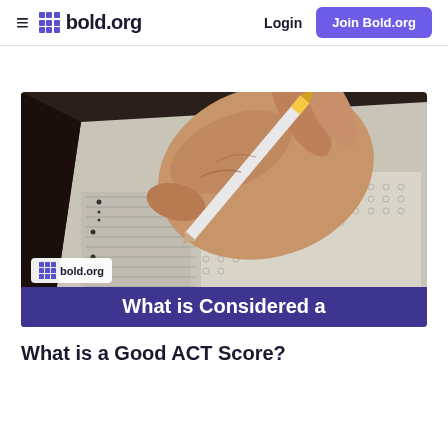bold.org — Login — Join Bold.org
[Figure (photo): Close-up photo of a hand holding a pencil filling in a multiple-choice standardized test answer sheet (scantron). A white watermark logo for bold.org is visible in the lower-left of the image. A purple banner at the bottom reads 'What is Considered a']
What is a Good ACT Score?